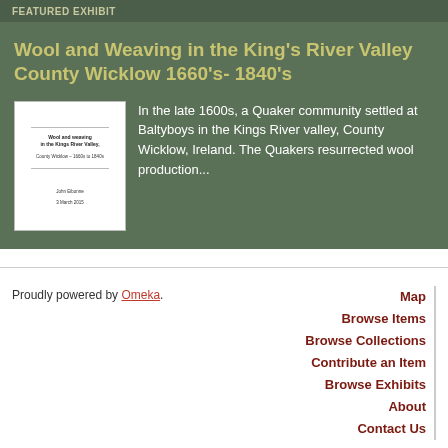FEATURED EXHIBIT
Wool and Weaving in the King's River Valley County Wicklow 1660's- 1840's
[Figure (illustration): Thumbnail image of a document titled 'Wool and Weaving in the Kings River Valley, County Wicklow - 1660s to 1840s' with author and date lines]
In the late 1600s, a Quaker community settled at Baltyboys in the Kings River valley, County Wicklow, Ireland. The Quakers resurrected wool production...
Proudly powered by Omeka.
Map
Browse Items
Browse Collections
Contribute an Item
Browse Exhibits
About
Contact Us